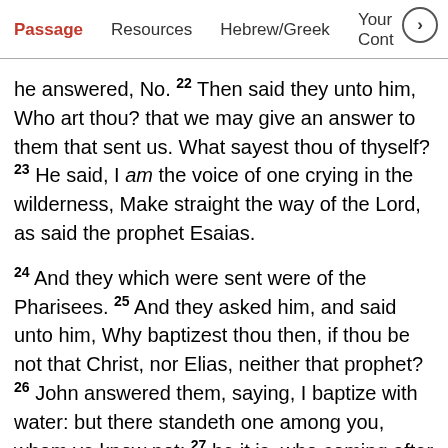Passage   Resources   Hebrew/Greek   Your Cont >
he answered, No. 22 Then said they unto him, Who art thou? that we may give an answer to them that sent us. What sayest thou of thyself? 23 He said, I am the voice of one crying in the wilderness, Make straight the way of the Lord, as said the prophet Esaias.
24 And they which were sent were of the Pharisees. 25 And they asked him, and said unto him, Why baptizest thou then, if thou be not that Christ, nor Elias, neither that prophet? 26 John answered them, saying, I baptize with water: but there standeth one among you, whom ye know not; 27 he it is, who coming after me is preferred before me, whose shoe's latchet I am not worthy to unloose. 28 These things were done in Bethabara beyond Jordan, where John was